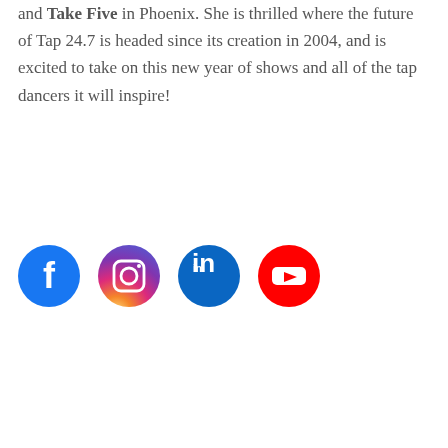and Take Five in Phoenix. She is thrilled where the future of Tap 24.7 is headed since its creation in 2004, and is excited to take on this new year of shows and all of the tap dancers it will inspire!
[Figure (infographic): Four social media icons in circles: Facebook (blue), Instagram (pink/magenta gradient), LinkedIn (dark blue), YouTube (red)]